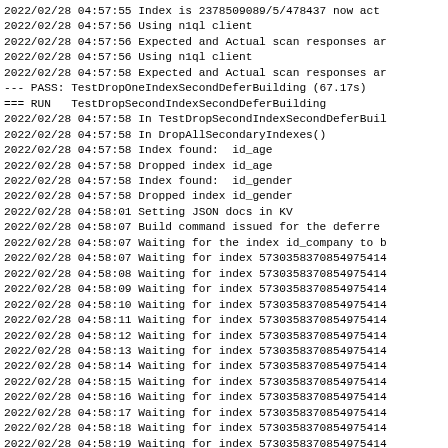2022/02/28 04:57:55 Index is 2378509089/5/478437 now act
2022/02/28 04:57:56 Using n1ql client
2022/02/28 04:57:56 Expected and Actual scan responses ar
2022/02/28 04:57:56 Using n1ql client
2022/02/28 04:57:58 Expected and Actual scan responses ar
--- PASS: TestDropOneIndexSecondDeferBuilding (67.17s)
=== RUN   TestDropSecondIndexSecondDeferBuilding
2022/02/28 04:57:58 In TestDropSecondIndexSecondDeferBuil
2022/02/28 04:57:58 In DropAllSecondaryIndexes()
2022/02/28 04:57:58 Index found:  id_age
2022/02/28 04:57:58 Dropped index id_age
2022/02/28 04:57:58 Index found:  id_gender
2022/02/28 04:57:58 Dropped index id_gender
2022/02/28 04:58:01 Setting JSON docs in KV
2022/02/28 04:58:07 Build command issued for the deferre
2022/02/28 04:58:07 Waiting for the index id_company to b
2022/02/28 04:58:07 Waiting for index 57303583708549754l4
2022/02/28 04:58:08 Waiting for index 57303583708549754l4
2022/02/28 04:58:09 Waiting for index 57303583708549754l4
2022/02/28 04:58:10 Waiting for index 57303583708549754l4
2022/02/28 04:58:11 Waiting for index 57303583708549754l4
2022/02/28 04:58:12 Waiting for index 57303583708549754l4
2022/02/28 04:58:13 Waiting for index 57303583708549754l4
2022/02/28 04:58:14 Waiting for index 57303583708549754l4
2022/02/28 04:58:15 Waiting for index 57303583708549754l4
2022/02/28 04:58:16 Waiting for index 57303583708549754l4
2022/02/28 04:58:17 Waiting for index 57303583708549754l4
2022/02/28 04:58:18 Waiting for index 57303583708549754l4
2022/02/28 04:58:19 Waiting for index 57303583708549754l4
2022/02/28 04:58:20 Waiting for index 57303583708549754l4